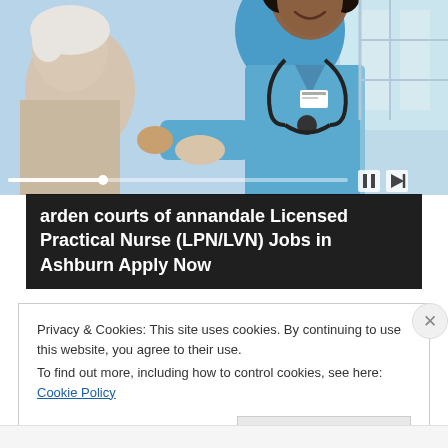[Figure (photo): A smiling nurse in blue scrubs with a stethoscope talking to an elderly patient, serving as an advertisement background image.]
arden courts of annandale Licensed Practical Nurse (LPN/LVN) Jobs in Ashburn Apply Now
Sponsored by jobble.com
Privacy & Cookies: This site uses cookies. By continuing to use this website, you agree to their use.
To find out more, including how to control cookies, see here: Cookie Policy
Close and accept